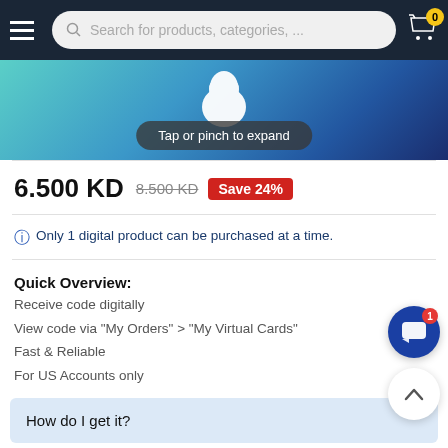Search for products, categories, ...
[Figure (screenshot): Apple gift card product image with teal/blue gradient background and 'Tap or pinch to expand' tooltip]
6.500 KD  8.500 KD  Save 24%
Only 1 digital product can be purchased at a time.
Quick Overview:
Receive code digitally
View code via "My Orders" > "My Virtual Cards"
Fast & Reliable
For US Accounts only
How do I get it?